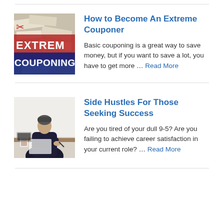[Figure (photo): Extreme Couponing image with scissors logo, red and blue text on coupons background]
How to Become An Extreme Couponer
Basic couponing is a great way to save money, but if you want to save a lot, you have to get more … Read More
[Figure (photo): Man in dark jacket sitting at desk writing, with a laptop]
Side Hustles For Those Seeking Success
Are you tired of your dull 9-5? Are you failing to achieve career satisfaction in your current role? … Read More